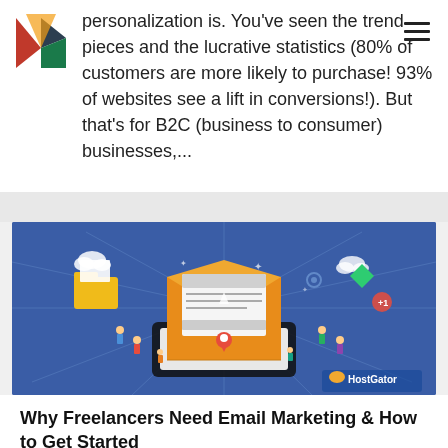personalization is. You've seen the trend pieces and the lucrative statistics (80% of customers are more likely to purchase! 93% of websites see a lift in conversions!). But that's for B2C (business to consumer) businesses,...
[Figure (illustration): Blue background illustration showing a large open envelope with a document/laptop inside, surrounded by small figures of people, folder icons, and digital communication icons. HostGator logo in bottom right.]
Why Freelancers Need Email Marketing & How to Get Started